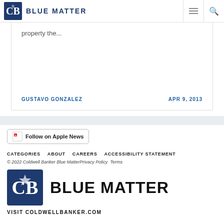Blue Matter
property the...
GUSTAVO GONZALEZ    APR 9, 2013
[Figure (logo): Follow on Apple News button]
CATEGORIES   ABOUT   CAREERS   ACCESSIBILITY STATEMENT
© 2022 Coldwell Banker Blue MatterPrivacy Policy   Terms
VISIT COLDWELLBANKER.COM